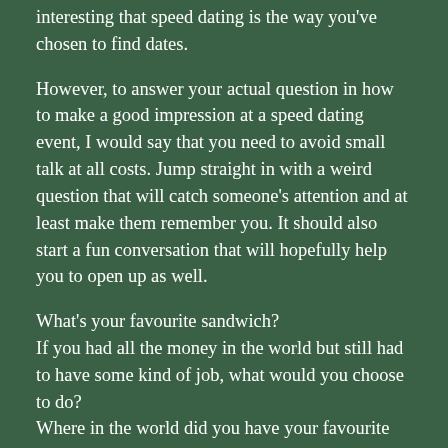interesting that speed dating is the way you've chosen to find dates.
However, to answer your actual question in how to make a good impression at a speed dating event, I would say that you need to avoid small talk at all costs. Jump straight in with a weird question that will catch someone's attention and at least make them remember you. It should also start a fun conversation that will hopefully help you to open up as well.
What's your favourite sandwich?
If you had all the money in the world but still had to have some kind of job, what would you choose to do?
Where in the world did you have your favourite meal?
Miss Marple or Hercule Poirot?
Why did you pick those particular shoes tonight?
Etc, etc...